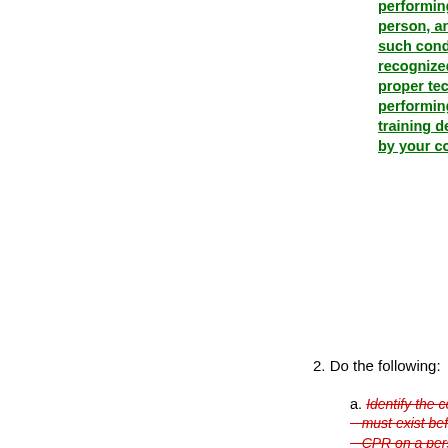performing CPR on a person, and explain how such conditions are recognized. Demonstrate proper technique for performing CPR using a training device approved by your counselor.
2. Do the following:
a. Identify the conditions that must exist before performing CPR on a person. Explain how such conditions are recognized. Before doing requirements 3 through 6, successfully complete the BSA swimmer test.
b. Demonstrate proper technique for performing CPR using a training device approved by your counselor. Name the different types of personal floatation devices (PFDs), and